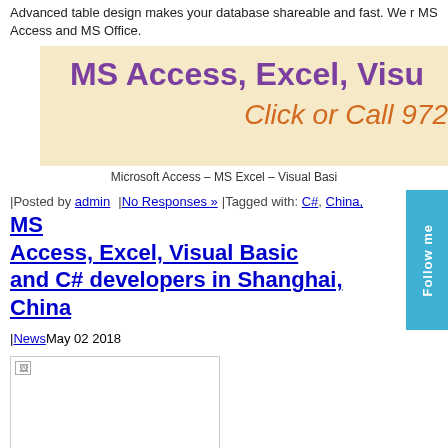Advanced table design makes your database shareable and fast. We r MS Access and MS Office.
[Figure (other): Advertisement banner with beige background showing 'MS Access, Excel, Visu...' in purple bold text and 'Click or Call 972...' in orange italic text]
Microsoft Access – MS Excel – Visual Basi
Posted by admin   No Responses »   Tagged with: C#, China,
MS Access, Excel, Visual Basic and C# developers in Shanghai, China
News May 02 2018
[Figure (photo): Broken image placeholder box]